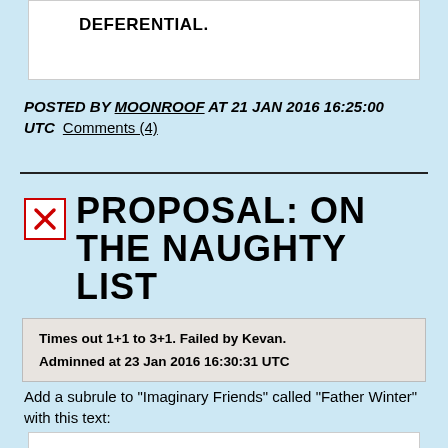DEFERENTIAL.
POSTED BY MOONROOF AT 21 JAN 2016 16:25:00 UTC   Comments (4)
PROPOSAL: ON THE NAUGHTY LIST
Times out 1+1 to 3+1. Failed by Kevan.
Adminned at 23 Jan 2016 16:30:31 UTC
Add a subrule to "Imaginary Friends" called "Father Winter" with this text: